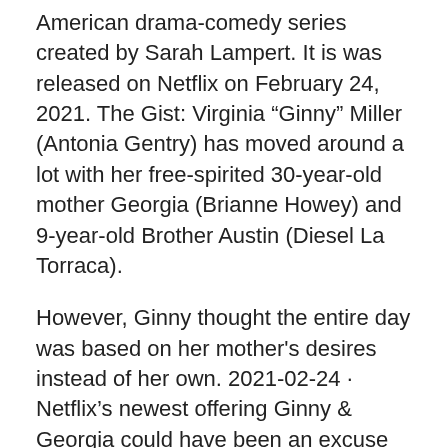American drama-comedy series created by Sarah Lampert. It is was released on Netflix on February 24, 2021. The Gist: Virginia “Ginny” Miller (Antonia Gentry) has moved around a lot with her free-spirited 30-year-old mother Georgia (Brianne Howey) and 9-year-old Brother Austin (Diesel La Torraca).
However, Ginny thought the entire day was based on her mother's desires instead of her own. 2021-02-24 · Netflix’s newest offering Ginny & Georgia could have been an excuse for a Gilmore Girls-style TV show–a tender mother-daughter drama made for easy viewing and digestible life lessons. Instead När kan vi tänkas se Ginny and Georgia säsong 2? Vi räknar med att Netflix inom två-tre månader bekräftar att Ginny and Georgia säsong 2 blir